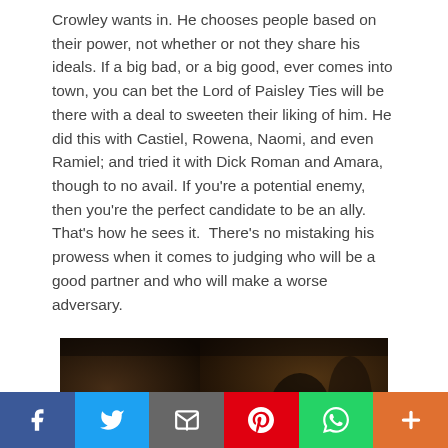Crowley wants in. He chooses people based on their power, not whether or not they share his ideals. If a big bad, or a big good, ever comes into town, you can bet the Lord of Paisley Ties will be there with a deal to sweeten their liking of him. He did this with Castiel, Rowena, Naomi, and even Ramiel; and tried it with Dick Roman and Amara, though to no avail. If you're a potential enemy, then you're the perfect candidate to be an ally. That's how he sees it.  There's no mistaking his prowess when it comes to judging who will be a good partner and who will make a worse adversary.
[Figure (photo): Dark cinematic still image, appears to show figures in a dimly lit scene]
Social sharing bar with Facebook, Twitter, Email, Pinterest, WhatsApp, and More buttons